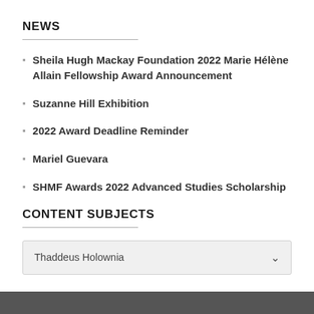NEWS
Sheila Hugh Mackay Foundation 2022 Marie Hélène Allain Fellowship Award Announcement
Suzanne Hill Exhibition
2022 Award Deadline Reminder
Mariel Guevara
SHMF Awards 2022 Advanced Studies Scholarship
CONTENT SUBJECTS
Thaddeus Holownia